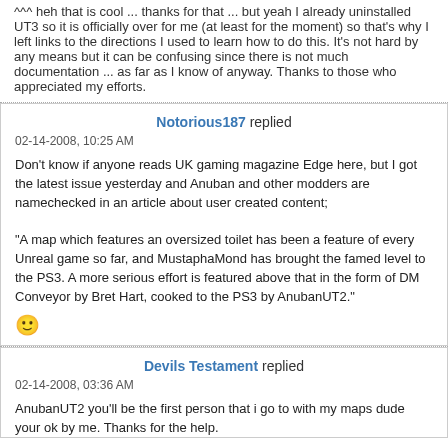^^^ heh that is cool ... thanks for that ... but yeah I already uninstalled UT3 so it is officially over for me (at least for the moment) so that's why I left links to the directions I used to learn how to do this. It's not hard by any means but it can be confusing since there is not much documentation ... as far as I know of anyway. Thanks to those who appreciated my efforts.
Notorious187 replied
02-14-2008, 10:25 AM
Don't know if anyone reads UK gaming magazine Edge here, but I got the latest issue yesterday and Anuban and other modders are namechecked in an article about user created content;

"A map which features an oversized toilet has been a feature of every Unreal game so far, and MustaphaMond has brought the famed level to the PS3. A more serious effort is featured above that in the form of DM Conveyor by Bret Hart, cooked to the PS3 by AnubanUT2."
Devils Testament replied
02-14-2008, 03:36 AM
AnubanUT2 you'll be the first person that i go to with my maps dude your ok by me. Thanks for the help.